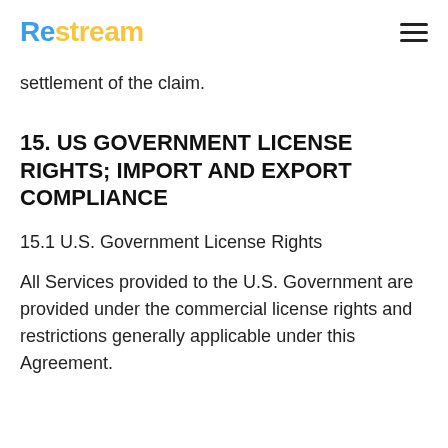Restream
settlement of the claim.
15. US GOVERNMENT LICENSE RIGHTS; IMPORT AND EXPORT COMPLIANCE
15.1 U.S. Government License Rights
All Services provided to the U.S. Government are provided under the commercial license rights and restrictions generally applicable under this Agreement.